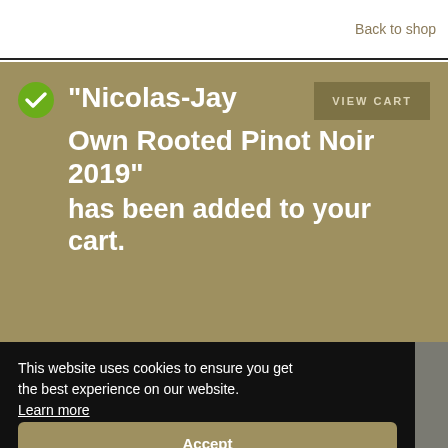Back to shop
“Nicolas-Jay Own Rooted Pinot Noir 2019” has been added to your cart.
VIEW CART
This website uses cookies to ensure you get the best experience on our website. Learn more
Accept